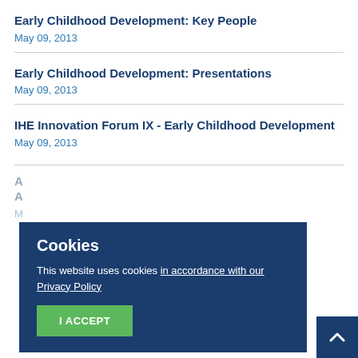Early Childhood Development: Key People
May 09, 2013
Early Childhood Development: Presentations
May 09, 2013
IHE Innovation Forum IX - Early Childhood Development
May 09, 2013
Cookies
This website uses cookies in accordance with our Privacy Policy
I ACCEPT